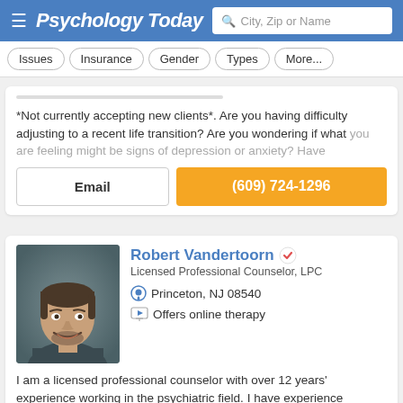Psychology Today — City, Zip or Name search
Issues
Insurance
Gender
Types
More...
*Not currently accepting new clients*. Are you having difficulty adjusting to a recent life transition? Are you wondering if what you are feeling might be signs of depression or anxiety? Have
Email
(609) 724-1296
Robert Vandertoorn Licensed Professional Counselor, LPC
Princeton, NJ 08540
Offers online therapy
[Figure (photo): Headshot of Robert Vandertoorn, a man with short dark hair and a beard, smiling, wearing a dark shirt against a gray background]
I am a licensed professional counselor with over 12 years' experience working in the psychiatric field. I have experience